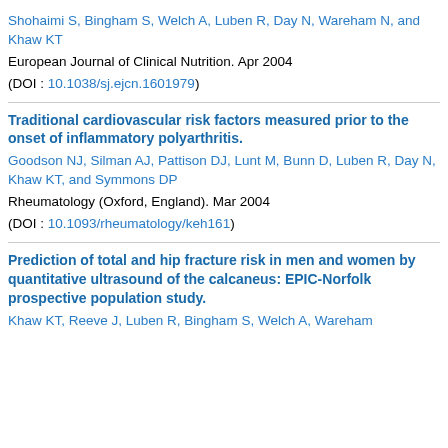Shohaimi S, Bingham S, Welch A, Luben R, Day N, Wareham N, and Khaw KT
European Journal of Clinical Nutrition. Apr 2004
(DOI : 10.1038/sj.ejcn.1601979)
Traditional cardiovascular risk factors measured prior to the onset of inflammatory polyarthritis.
Goodson NJ, Silman AJ, Pattison DJ, Lunt M, Bunn D, Luben R, Day N, Khaw KT, and Symmons DP
Rheumatology (Oxford, England). Mar 2004
(DOI : 10.1093/rheumatology/keh161)
Prediction of total and hip fracture risk in men and women by quantitative ultrasound of the calcaneus: EPIC-Norfolk prospective population study.
Khaw KT, Reeve J, Luben R, Bingham S, Welch A, Wareham